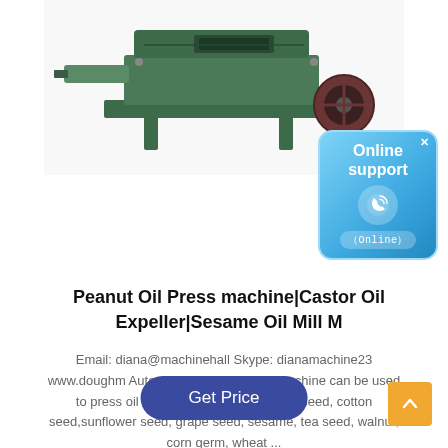[Figure (photo): Green industrial oil press machine on a stand, side view, with belt drive on the right]
[Figure (infographic): Blue rounded-rectangle Online support badge with phone icon and '(Online)' label, with a close X button]
Peanut Oil Press machine|Castor Oil Expeller|Sesame Oil Mill M
Email: diana@machinehall Skype: dianamachine23 www.doughm Automatic spiral oil press machine can be used to press oil from peanut, soybean, rapeseed, cotton seed,sunflower seed, grape seed, sesame, tea seed, walnut, corn germ, wheat ...
Get Price